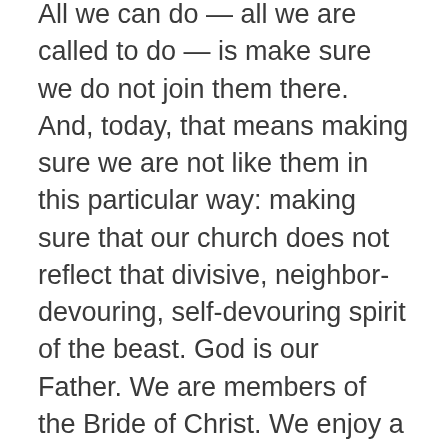All we can do — all we are called to do — is make sure we do not join them there. And, today, that means making sure we are not like them in this particular way: making sure that our church does not reflect that divisive, neighbor-devouring, self-devouring spirit of the beast. God is our Father. We are members of the Bride of Christ. We enjoy a Holy Spirit of unity here that other nations can only dream of!
So let's act like it. Let's be the family that we really are. Let's remember that the forces arrayed against Jesus' Church look united, but they are not. Really, truly, we do not need to fight for the rights of Jesus' Church! All we have to do is stand still upon the Mountain of the Lord, and watch the sea of nations shatter themselves like waves upon the Rock of our Salvation. It will happen just as the angel promised: the Lamb will triumph over them because